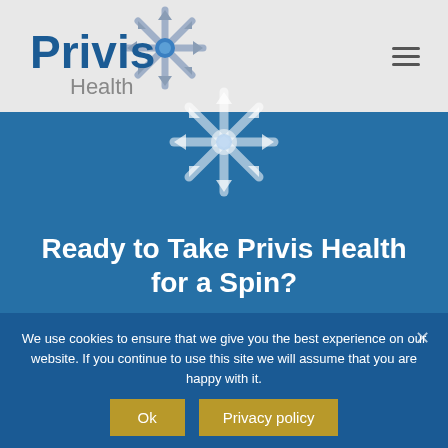[Figure (logo): Privis Health logo with star/snowflake icon in blue and grey tones, with text 'Privis Health']
[Figure (logo): Privis Health star/snowflake logo in white on blue background, partially visible]
Ready to Take Privis Health for a Spin?
Request a Demo
We use cookies to ensure that we give you the best experience on our website. If you continue to use this site we will assume that you are happy with it.
Ok
Privacy policy